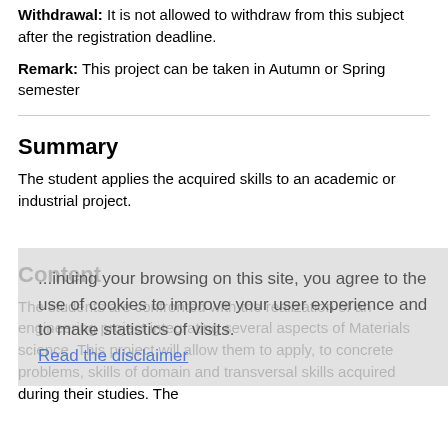Withdrawal: It is not allowed to withdraw from this subject after the registration deadline.
Remark: This project can be taken in Autumn or Spring semester
Summary
The student applies the acquired skills to an academic or industrial project.
Content
The students are confronted with the realization of an engineering project integrating several aspects of Materials science. This project will allow them to apply, to concrete problems, skills of domain and transversal skills acquired during their studies. The